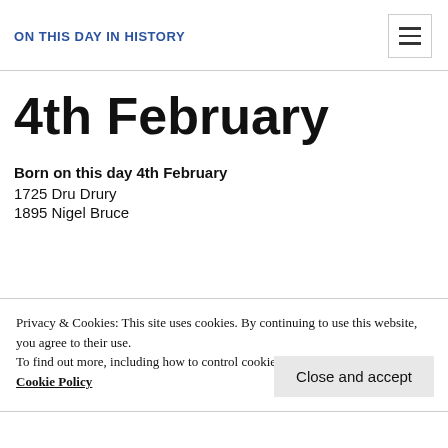ON THIS DAY IN HISTORY
4th February
Born on this day 4th February
1725 Dru Drury
1895 Nigel Bruce
Privacy & Cookies: This site uses cookies. By continuing to use this website, you agree to their use.
To find out more, including how to control cookies, see here:
Cookie Policy
Close and accept